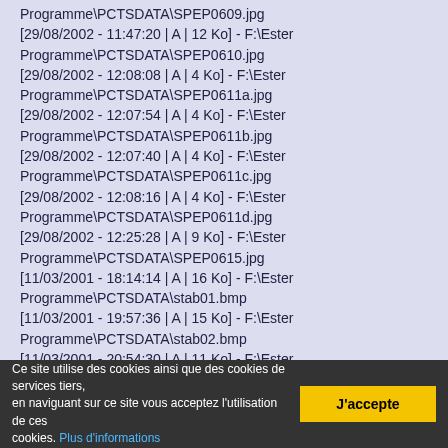Programme\PCTSDATA\SPEP0609.jpg
[29/08/2002 - 11:47:20 | A | 12 Ko] - F:\Ester Programme\PCTSDATA\SPEP0610.jpg
[29/08/2002 - 12:08:08 | A | 4 Ko] - F:\Ester Programme\PCTSDATA\SPEP0611a.jpg
[29/08/2002 - 12:07:54 | A | 4 Ko] - F:\Ester Programme\PCTSDATA\SPEP0611b.jpg
[29/08/2002 - 12:07:40 | A | 4 Ko] - F:\Ester Programme\PCTSDATA\SPEP0611c.jpg
[29/08/2002 - 12:08:16 | A | 4 Ko] - F:\Ester Programme\PCTSDATA\SPEP0611d.jpg
[29/08/2002 - 12:25:28 | A | 9 Ko] - F:\Ester Programme\PCTSDATA\SPEP0615.jpg
[11/03/2001 - 18:14:14 | A | 16 Ko] - F:\Ester Programme\PCTSDATA\stab01.bmp
[11/03/2001 - 19:57:36 | A | 15 Ko] - F:\Ester Programme\PCTSDATA\stab02.bmp
[11/03/2001 - 20:54:30 | A | 11 Ko] - F:\Ester Programme\PCTSDATA\stab03.bmp
[11/03/2001 - 23:42:00 | A | 7 Ko] - F:\Ester
Ce site utilise des cookies ainsi que des cookies de services tiers, en naviguant sur ce site vous acceptez l'utilisation de ces cookies. Plus d'informations